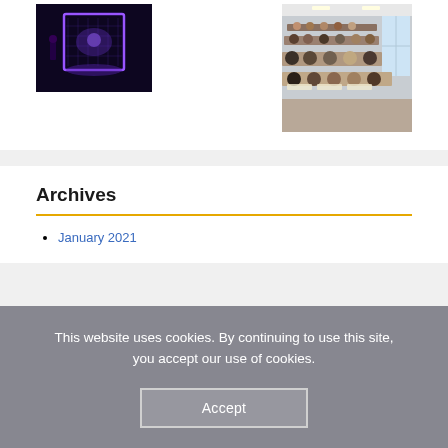[Figure (photo): Dark stage with purple/blue neon lighting showing a presentation or performance setup]
[Figure (photo): Students seated in a lecture hall working on papers or exercises]
Archives
January 2021
This website uses cookies. By continuing to use this site, you accept our use of cookies.